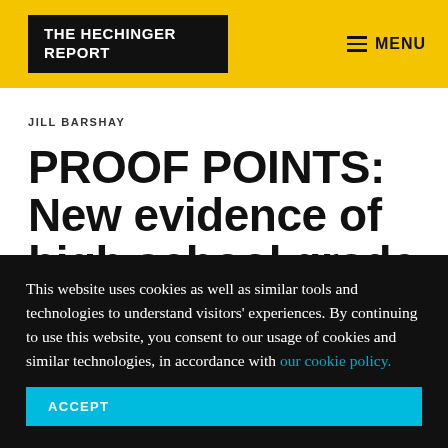THE HECHINGER REPORT | MENU
JILL BARSHAY
PROOF POINTS: New evidence of high school grade inflation
ACT study finds that the trend of rising GPAs
This website uses cookies as well as similar tools and technologies to understand visitors' experiences. By continuing to use this website, you consent to our usage of cookies and similar technologies, in accordance with our cookie policy.